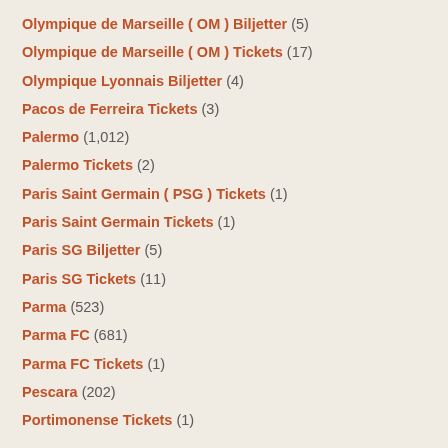Olympique de Marseille ( OM ) Biljetter (5)
Olympique de Marseille ( OM ) Tickets (17)
Olympique Lyonnais Biljetter (4)
Pacos de Ferreira Tickets (3)
Palermo (1,012)
Palermo Tickets (2)
Paris Saint Germain ( PSG ) Tickets (1)
Paris Saint Germain Tickets (1)
Paris SG Biljetter (5)
Paris SG Tickets (11)
Parma (523)
Parma FC (681)
Parma FC Tickets (1)
Pescara (202)
Portimonense Tickets (1)